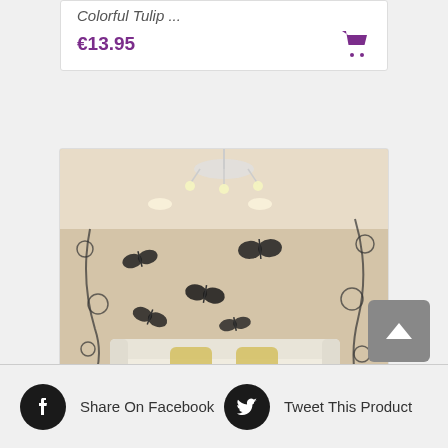€13.95
[Figure (photo): Living room with butterfly wall stickers and floral vine decorations on beige wall, white sofa with yellow cushions, chandelier overhead]
Butterfly Feife...
€14.95
Share On Facebook
Tweet This Product